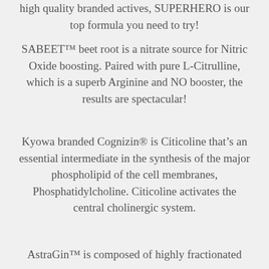high quality branded actives, SUPERHERO is our top formula you need to try!
SABEET™ beet root is a nitrate source for Nitric Oxide boosting. Paired with pure L-Citrulline, which is a superb Arginine and NO booster, the results are spectacular!
Kyowa branded Cognizin® is Citicoline that's an essential intermediate in the synthesis of the major phospholipid of the cell membranes, Phosphatidylcholine. Citicoline activates the central cholinergic system.
AstraGin™ is composed of highly fractionated